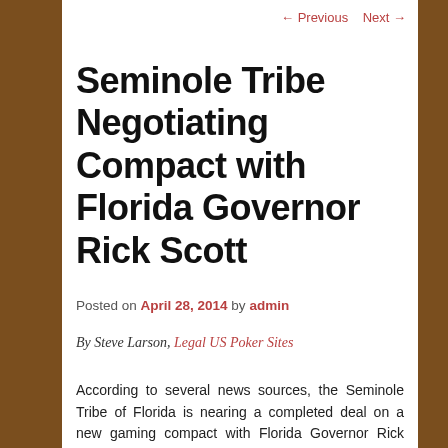← Previous   Next →
Seminole Tribe Negotiating Compact with Florida Governor Rick Scott
Posted on April 28, 2014 by admin
By Steve Larson, Legal US Poker Sites
According to several news sources, the Seminole Tribe of Florida is nearing a completed deal on a new gaming compact with Florida Governor Rick Scott. A source close to the negotiations says a special session in May might be called for the legislature to consider a new compact with